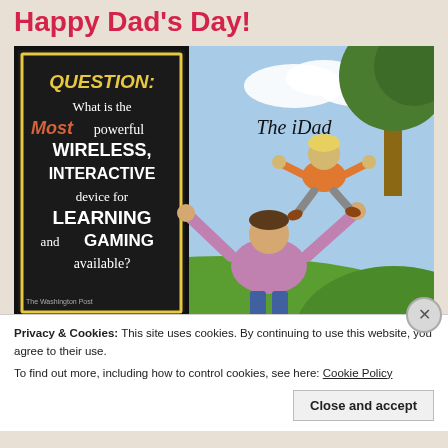Happy Dad's Day!
[Figure (illustration): Cartoon titled 'The iDad' showing a father tossing a child into the air outdoors. On the left side is a black sign with text: 'QUESTION: What is the Most powerful WIRELESS, INTERACTIVE device for LEARNING and GAMING available?' The answer implied is the dad himself. A Washington Post attribution logo appears at bottom left.]
Privacy & Cookies: This site uses cookies. By continuing to use this website, you agree to their use.
To find out more, including how to control cookies, see here: Cookie Policy
Close and accept